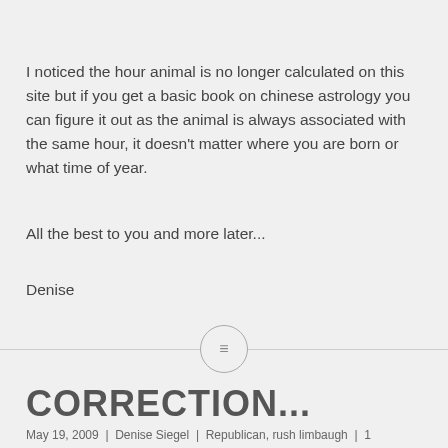I noticed the hour animal is no longer calculated on this site but if you get a basic book on chinese astrology you can figure it out as the animal is always associated with the same hour, it doesn't matter where you are born or what time of year.
All the best to you and more later...
Denise
[Figure (other): Horizontal divider line with a circular icon containing a text/lines symbol in the center]
CORRECTION...
May 19, 2009  |  Denise Siegel  |  Republican, rush limbaugh  |  1